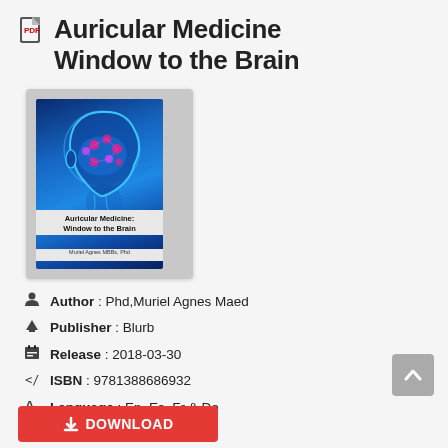Auricular Medicine Window to the Brain
[Figure (illustration): Book cover thumbnail showing a glowing blue human head with visible brain and pink neural highlights, with title 'Auricular Medicine: Window to the Brain' and author 'Muriel Agnes MBBs, Phd']
Author : Phd,Muriel Agnes Maed
Publisher : Blurb
Release : 2018-03-30
ISBN : 9781388686932
Language : En, Es, Fr & De